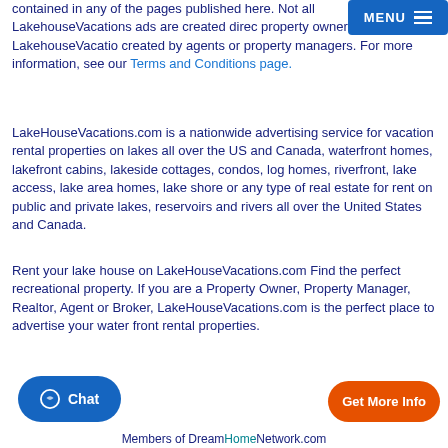contained in any of the pages published here. Not all LakehouseVacations ads are created directly by property owners, some LakehouseVacations ads are created by agents or property managers. For more information, see our Terms and Conditions page.
LakeHouseVacations.com is a nationwide advertising service for vacation rental properties on lakes all over the US and Canada, waterfront homes, lakefront cabins, lakeside cottages, condos, log homes, riverfront, lake access, lake area homes, lake shore or any type of real estate for rent on public and private lakes, reservoirs and rivers all over the United States and Canada.
Rent your lake house on LakeHouseVacations.com Find the perfect recreational property. If you are a Property Owner, Property Manager, Realtor, Agent or Broker, LakeHouseVacations.com is the perfect place to advertise your water front rental properties.
Members of DreamHomeNetwork.com